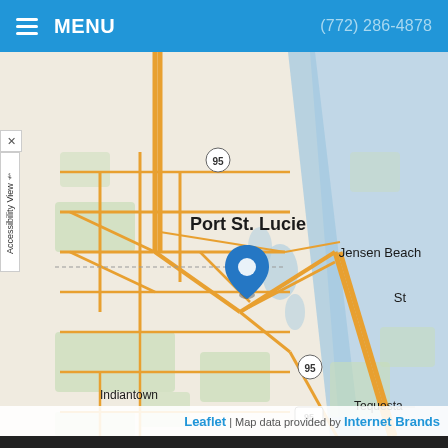MENU   (772) 286-4878
[Figure (map): Street map showing Port St. Lucie, Jensen Beach, Stuart, Indiantown, and Tequesta in Florida. A blue location pin marker is placed on Stuart. Interstate 95 route is visible. The Atlantic Ocean/Indian River is visible on the right side. Roads shown in orange/yellow. Green areas indicate parks or natural areas.]
Leaflet | Map data provided by Internet Brands